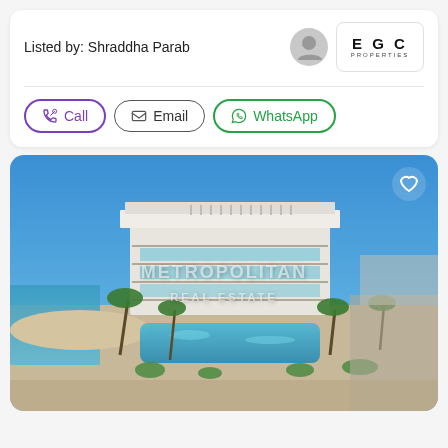Listed by: Shraddha Parab
[Figure (logo): EGC Properties logo in a rounded rectangle box]
[Figure (illustration): Contact buttons: Call (purple), Email (gray), WhatsApp (green)]
[Figure (photo): Aerial photo of a modern beachfront apartment building with pool, palm trees, blue sky, watermark reading METROPOLITAN REAL ESTATE. Heart/favorite icon in top right corner.]